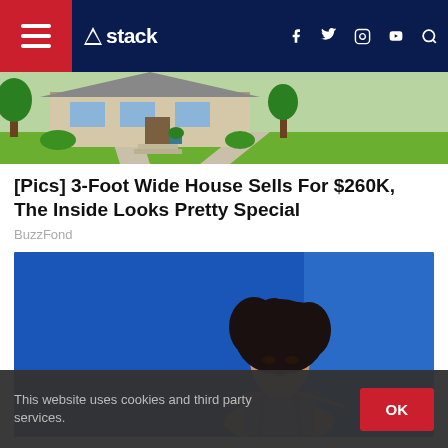stack — navigation bar with hamburger menu, logo, social icons (f, Twitter, Instagram, YouTube), search
[Figure (photo): Exterior photo of a house with green lawn and garden]
[Pics] 3-Foot Wide House Sells For $260K, The Inside Looks Pretty Special
BuzzFond
[Figure (photo): Photo of a woman with dark hair wearing a blue/purple halter dress against a blue background]
This website uses cookies and third party services.